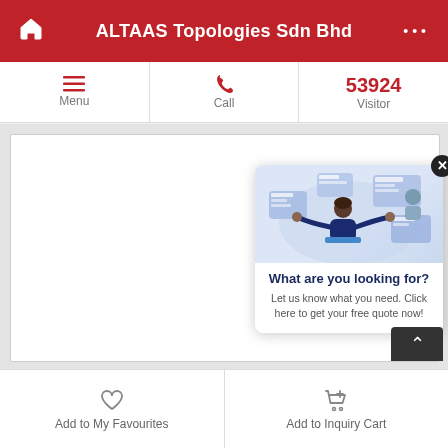ALTAAS Topologies Sdn Bhd
[Figure (screenshot): Mobile app navigation bar with Menu (hamburger icon), Call (phone icon), and Visitor count 53924]
[Figure (illustration): Main white content area with a popup widget showing a person working with floating UI elements. Popup title: 'What are you looking for?' with body text: 'Let us know what you need. Click here to get your free quote now!']
[Figure (screenshot): Bottom app footer bar with 'Add to My Favourites' (heart icon) and 'Add to Inquiry Cart' (cart icon) buttons]